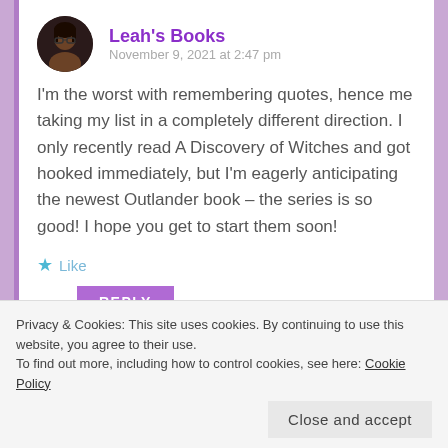Leah's Books
November 9, 2021 at 2:47 pm
I'm the worst with remembering quotes, hence me taking my list in a completely different direction. I only recently read A Discovery of Witches and got hooked immediately, but I'm eagerly anticipating the newest Outlander book – the series is so good! I hope you get to start them soon!
Like
REPLY
Privacy & Cookies: This site uses cookies. By continuing to use this website, you agree to their use.
To find out more, including how to control cookies, see here: Cookie Policy
Close and accept